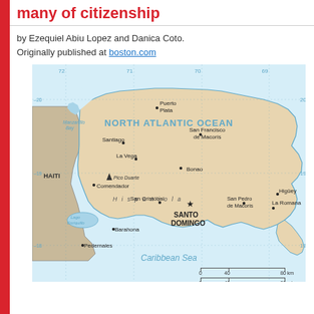many of citizenship
by Ezequiel Abiu Lopez and Danica Coto. Originally published at boston.com
[Figure (map): Map of the Dominican Republic showing major cities including Santo Domingo, Santiago, Puerto Plata, La Vega, Bonao, San Cristóbal, Barahona, Pedernales, San Francisco de Macorís, San Pedro de Macorís, Higüey, La Romana, Comendador, Manzanillo Bay, Lago Enriquillo, Pico Duarte; borders with Haiti on the west; surrounded by North Atlantic Ocean to the north and Caribbean Sea to the south; island of Hispaniola; scale bar showing 0-40-80 km and 0-40-80 mi; coordinate grid lines at 72, 71, 70, 69 longitude and 18, 19, 20 latitude.]